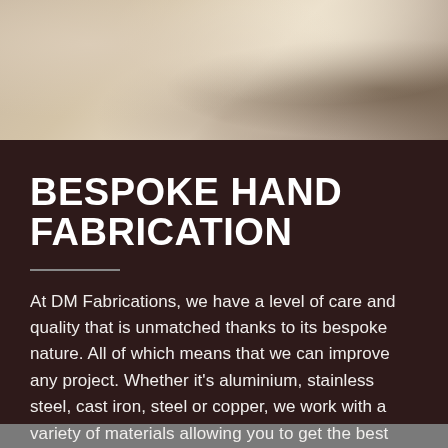[Figure (photo): Blurred warm-toned background photo showing metalwork or fabrication materials in beige, cream and dark brown tones.]
BESPOKE HAND FABRICATION
At DM Fabrications, we have a level of care and quality that is unmatched thanks to its bespoke nature. All of which means that we can improve any project. Whether it's aluminium, stainless steel, cast iron, steel or copper, we work with a variety of materials allowing you to get the best possible finish without compromise.